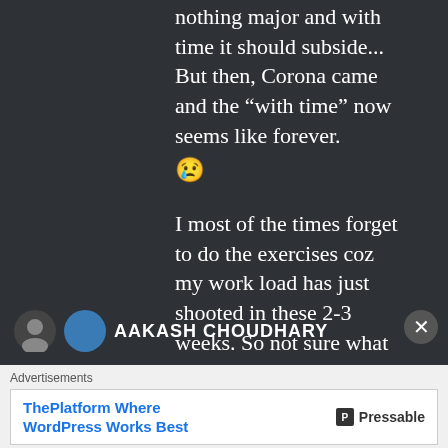nothing major and with time it should subside... But then, Corona came and the “with time” now seems like forever. 😢
I most of the times forget to do the exercises coz my work load has just shooted in these 2-3 weeks. So not sure what to do.
★ Like
AAKASH CHOUDHARY
Advertisements
ThePlatform Where WordPress Works Best
Pressable